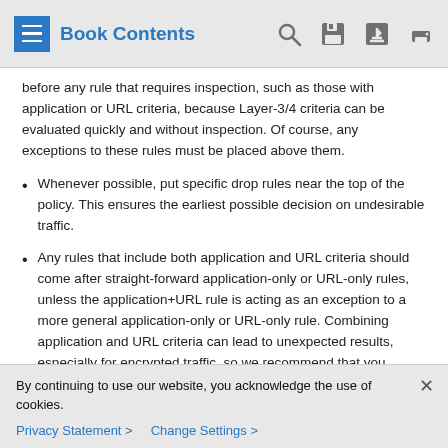Book Contents
before any rule that requires inspection, such as those with application or URL criteria, because Layer-3/4 criteria can be evaluated quickly and without inspection. Of course, any exceptions to these rules must be placed above them.
Whenever possible, put specific drop rules near the top of the policy. This ensures the earliest possible decision on undesirable traffic.
Any rules that include both application and URL criteria should come after straight-forward application-only or URL-only rules, unless the application+URL rule is acting as an exception to a more general application-only or URL-only rule. Combining application and URL criteria can lead to unexpected results, especially for encrypted traffic, so we recommend that you create separate rules for URL and
By continuing to use our website, you acknowledge the use of cookies.
Privacy Statement > Change Settings >